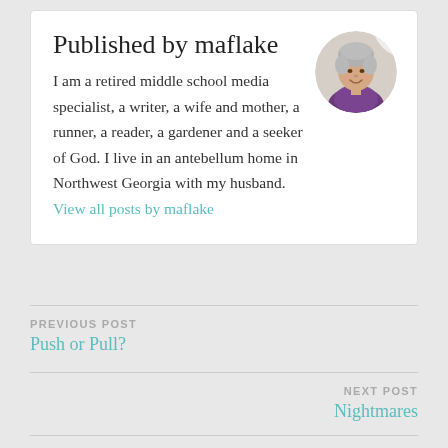Published by maflake
I am a retired middle school media specialist, a writer, a wife and mother, a runner, a reader, a gardener and a seeker of God. I live in an antebellum home in Northwest Georgia with my husband. View all posts by maflake
[Figure (photo): Circular portrait photo of a smiling older woman with short gray hair, wearing a purple floral top, against a white background]
PREVIOUS POST
Push or Pull?
NEXT POST
Nightmares